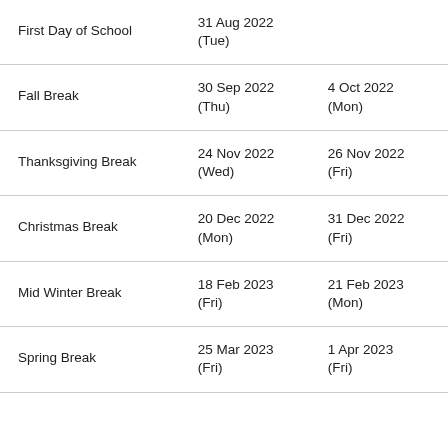| First Day of School | 31 Aug 2022
(Tue) |  |
| Fall Break | 30 Sep 2022
(Thu) | 4 Oct 2022
(Mon) |
| Thanksgiving Break | 24 Nov 2022
(Wed) | 26 Nov 2022
(Fri) |
| Christmas Break | 20 Dec 2022
(Mon) | 31 Dec 2022
(Fri) |
| Mid Winter Break | 18 Feb 2023
(Fri) | 21 Feb 2023
(Mon) |
| Spring Break | 25 Mar 2023
(Fri) | 1 Apr 2023
(Fri) |